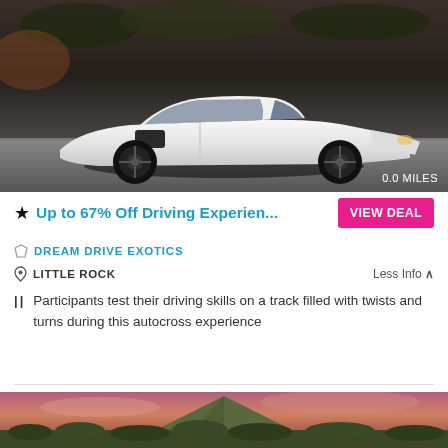[Figure (photo): White Lamborghini convertible sports car on a racetrack, shot from front-left angle. Distance badge showing 0.0 MILES in bottom right corner.]
Up to 67% Off Driving Experien...
VIEW DEAL
DREAM DRIVE EXOTICS
LITTLE ROCK
Less Info ^
Participants test their driving skills on a track filled with twists and turns during this autocross experience
[Figure (photo): Triangular mountain peak with forest trees in foreground against a pink and purple sunset sky.]